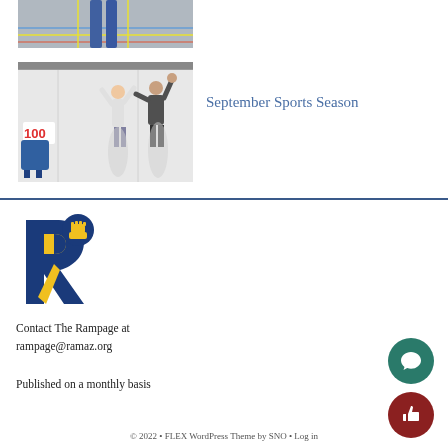[Figure (photo): Top partial photo showing gym floor with colored lines and a person's legs]
[Figure (photo): Photo of two people playing a throwing game inside a tent structure with a '100' target on the wall]
September Sports Season
[Figure (logo): The Rampage school newspaper logo — stylized letter R in blue and gold]
Contact The Rampage at rampage@ramaz.org
Published on a monthly basis
© 2022 • FLEX WordPress Theme by SNO • Log in